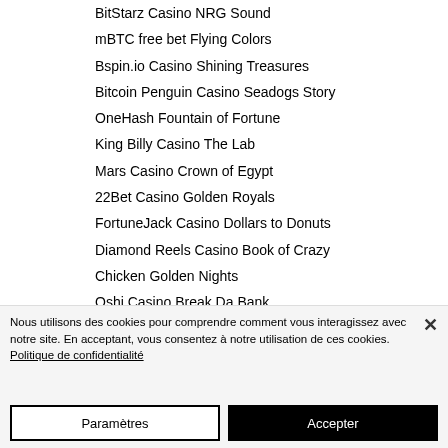BitStarz Casino NRG Sound
mBTC free bet Flying Colors
Bspin.io Casino Shining Treasures
Bitcoin Penguin Casino Seadogs Story
OneHash Fountain of Fortune
King Billy Casino The Lab
Mars Casino Crown of Egypt
22Bet Casino Golden Royals
FortuneJack Casino Dollars to Donuts
Diamond Reels Casino Book of Crazy
Chicken Golden Nights
Oshi Casino Break Da Bank
BitcoinCasino.us Mega Stellar
Syndicate Casino Mystery Joker
Nous utilisons des cookies pour comprendre comment vous interagissez avec notre site. En acceptant, vous consentez à notre utilisation de ces cookies. Politique de confidentialité